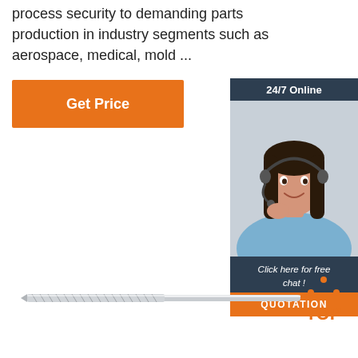process security to demanding parts production in industry segments such as aerospace, medical, mold ...
[Figure (other): Orange 'Get Price' button]
[Figure (other): 24/7 Online customer support chat widget with woman wearing headset, 'Click here for free chat!' text, and orange QUOTATION button]
[Figure (photo): Carbide end mill cutting tool, cylindrical with spiral flutes]
[Figure (logo): Orange dotted triangle 'TOP' badge icon]